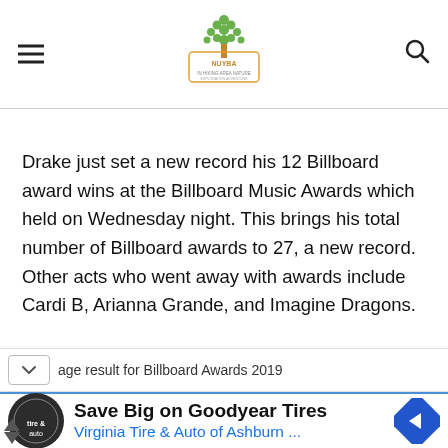NUYBA navigation site header with hamburger menu and search icon
Drake just set a new record his 12 Billboard award wins at the Billboard Music Awards which held on Wednesday night. This brings his total number of Billboard awards to 27, a new record. Other acts who went away with awards include Cardi B, Arianna Grande, and Imagine Dragons.
age result for Billboard Awards 2019
Save Big on Goodyear Tires
Virginia Tire & Auto of Ashburn ...